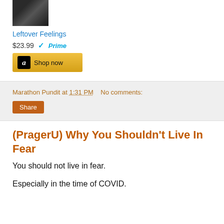[Figure (photo): Product image - dark book/album cover thumbnail]
Leftover Feelings
$23.99 ✓Prime
Shop now
Marathon Pundit at 1:31 PM   No comments:
Share
(PragerU) Why You Shouldn't Live In Fear
You should not live in fear.
Especially in the time of COVID.